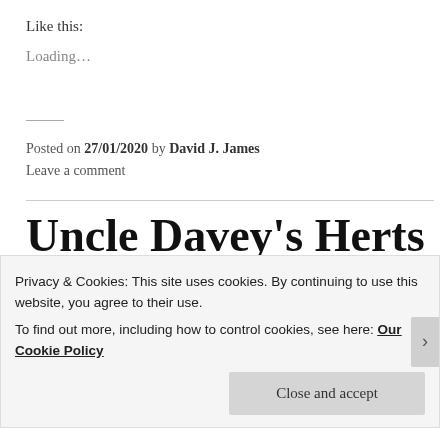Like this:
Loading...
Posted on 27/01/2020 by David J. James
Leave a comment
Uncle Davey's Herts Content S3 E6 – Musical tour of the
Privacy & Cookies: This site uses cookies. By continuing to use this website, you agree to their use.
To find out more, including how to control cookies, see here: Our Cookie Policy
Close and accept